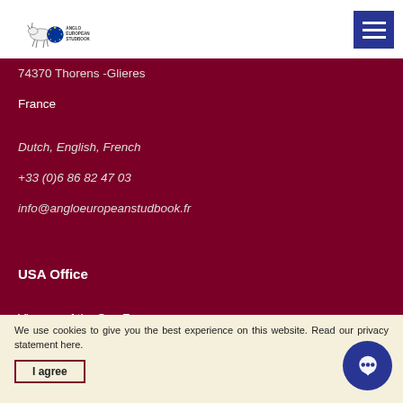Anglo European Studbook
74370 Thorens -Glieres
France
Dutch, English, French
+33 (0)6 86 82 47 03
info@angloeuropeanstudbook.fr
USA Office
Vizcaya of the Sun Farms
1633 Trotter Court
Wellington
FL 33414
USA
Dutch, English
+ 1 561 578 2955 / + 305 454 1475
guy@angloeuropeanstudbook.com
We use cookies to give you the best experience on this website. Read our privacy statement here.
I agree